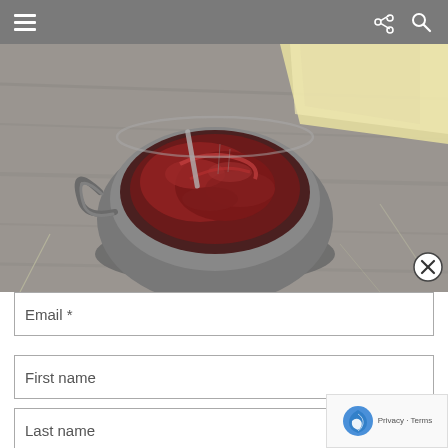[Figure (screenshot): Mobile app navigation bar with hamburger menu icon on left and share/search icons on right, on gray background]
[Figure (photo): Food photo showing a silver/pewter bowl containing dark red meat or jam/chutney with herbs, alongside yellow cheese slices, on a gray wooden surface]
Email *
First name
Last name